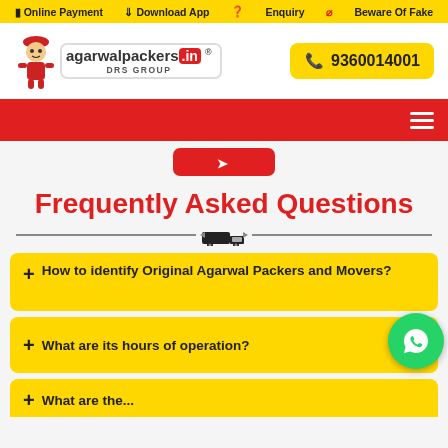Online Payment  Download App  Enquiry  Beware Of Fake
[Figure (logo): Agarwal Packers DRS Group logo with mascot figure, agarwalpackers.in brand name and DRS GROUP text below]
9360014001
[Figure (screenshot): Red navigation bar with hamburger menu icon on right]
Frequently Asked Questions
+ How to identify Original Agarwal Packers and Movers?
+ What are its hours of operation?
+ What are the...